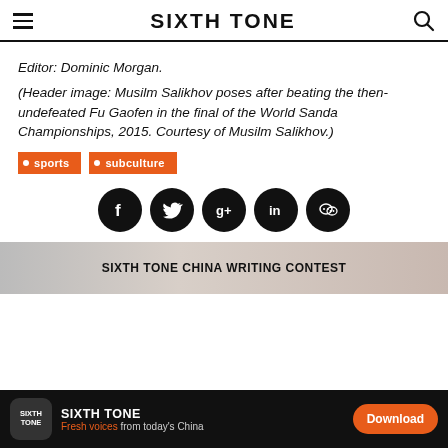SIXTH TONE
Editor: Dominic Morgan.
(Header image: Musilm Salikhov poses after beating the then-undefeated Fu Gaofen in the final of the World Sanda Championships, 2015. Courtesy of Musilm Salikhov.)
sports
subculture
[Figure (infographic): Social media sharing icons: Facebook, Twitter, Google+, LinkedIn, WeChat — black circles with white logos]
[Figure (screenshot): Banner: SIXTH TONE CHINA WRITING CONTEST with photographic background]
SIXTH TONE — Fresh voices from today's China — Download